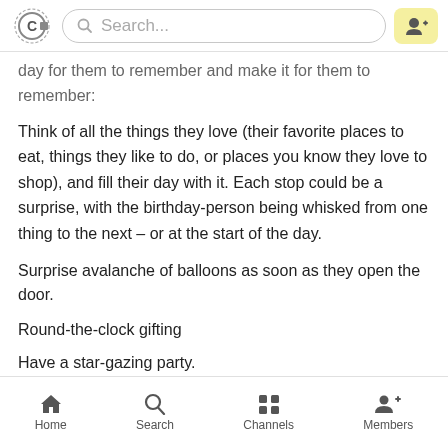Search...
day for them to remember and make it for them to remember:
Think of all the things they love (their favorite places to eat, things they like to do, or places you know they love to shop), and fill their day with it. Each stop could be a surprise, with the birthday-person being whisked from one thing to the next – or at the start of the day.
Surprise avalanche of balloons as soon as they open the door.
Round-the-clock gifting
Have a star-gazing party.
Home  Search  Channels  Members